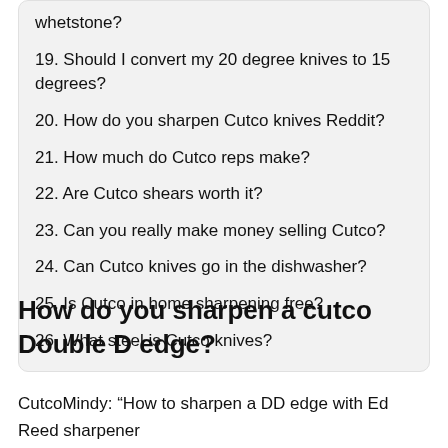whetstone?
19. Should I convert my 20 degree knives to 15 degrees?
20. How do you sharpen Cutco knives Reddit?
21. How much do Cutco reps make?
22. Are Cutco shears worth it?
23. Can you really make money selling Cutco?
24. Can Cutco knives go in the dishwasher?
25. Is Cutco in home sharpening free?
26. What steel is Cutco knives?
How do you sharpen a cutco Double D edge?
CutcoMindy: “How to sharpen a DD edge with Ed Reed sharpener